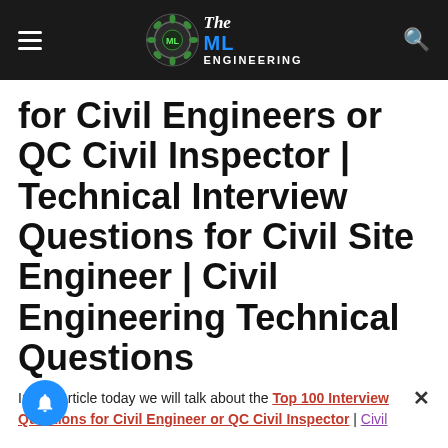The ML Engineering — navigation header with logo
for Civil Engineers or QC Civil Inspector | Technical Interview Questions for Civil Site Engineer | Civil Engineering Technical Questions
In this Article today we will talk about the Top 100 Interview Questions for Civil Engineer or QC Civil Inspector | Civil